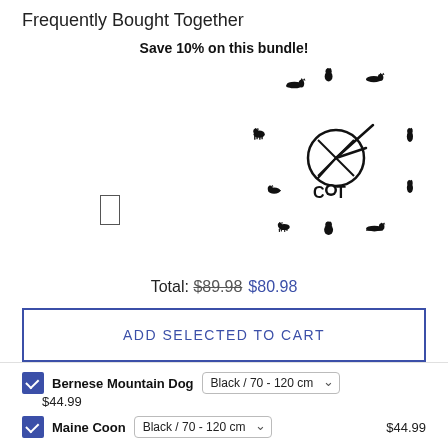Frequently Bought Together
Save 10% on this bundle!
[Figure (photo): A decorative cat wall clock made of black silhouettes of cats arranged in a circle, with clock hands and the text 'CAT' with a paw print in the center.]
Total: $89.98  $80.98
ADD SELECTED TO CART
Bernese Mountain Dog  Black / 70 - 120 cm  $44.99
$44.99
Maine Coon  Black / 70 - 120 cm  $44.99